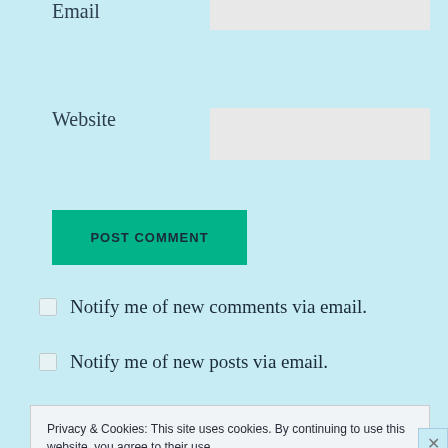Email
Website
POST COMMENT
Notify me of new comments via email.
Notify me of new posts via email.
Privacy & Cookies: This site uses cookies. By continuing to use this website, you agree to their use. To find out more, including how to control cookies, see here: Cookie Policy
Close and accept